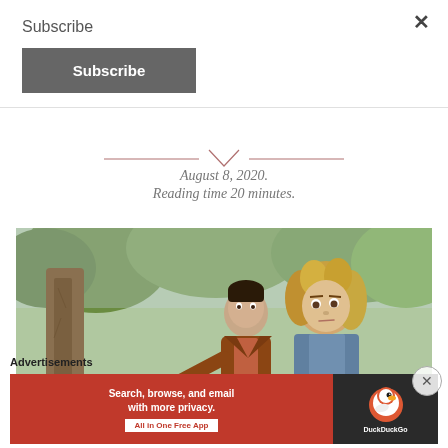Subscribe
Subscribe
August 8, 2020.
Reading time 20 minutes.
[Figure (photo): A man in a brown leather jacket gestures with an open hand toward a woman with curly blonde hair in a park setting with trees in background. The woman looks away from the man with a serious or upset expression.]
Advertisements
[Figure (other): DuckDuckGo advertisement banner: orange/red left panel with text 'Search, browse, and email with more privacy. All in One Free App', dark right panel with DuckDuckGo duck logo and DuckDuckGo wordmark.]